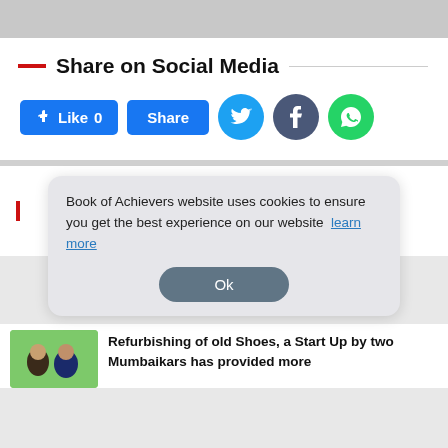Share on Social Media
[Figure (infographic): Social media share buttons: Facebook Like 0, Share, Twitter circle, Facebook circle, WhatsApp circle]
Book of Achievers website uses cookies to ensure you get the best experience on our website  learn more
Ok
[Figure (photo): Two people on green background]
Refurbishing of old Shoes, a Start Up by two Mumbaikars has provided more